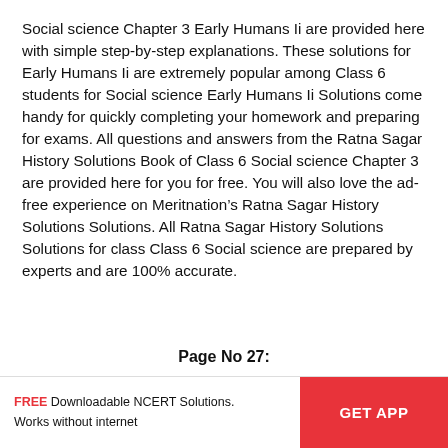Social science Chapter 3 Early Humans Ii are provided here with simple step-by-step explanations. These solutions for Early Humans Ii are extremely popular among Class 6 students for Social science Early Humans Ii Solutions come handy for quickly completing your homework and preparing for exams. All questions and answers from the Ratna Sagar History Solutions Book of Class 6 Social science Chapter 3 are provided here for you for free. You will also love the ad-free experience on Meritnation’s Ratna Sagar History Solutions Solutions. All Ratna Sagar History Solutions Solutions for class Class 6 Social science are prepared by experts and are 100% accurate.
Page No 27:
FREE Downloadable NCERT Solutions. Works without internet | GET APP